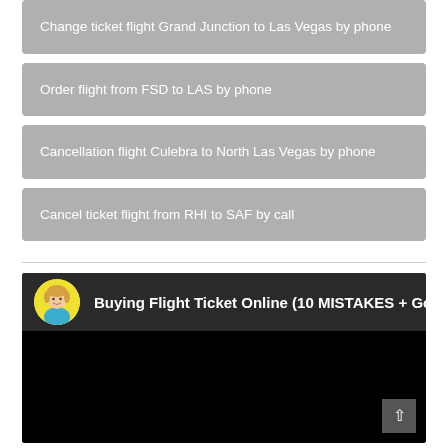Change ticket flight Grand Junction to Las Vegas by phone
Order flight from FSD to LAS by phone
Cancellation flight Culebra to North Las Vegas by phone
Cancel ticket flight from RHI to SAF by call
[Figure (screenshot): YouTube video thumbnail showing 'Buying Flight Ticket Online (10 MISTAKES + Go...' with a female avatar in a yellow circle]